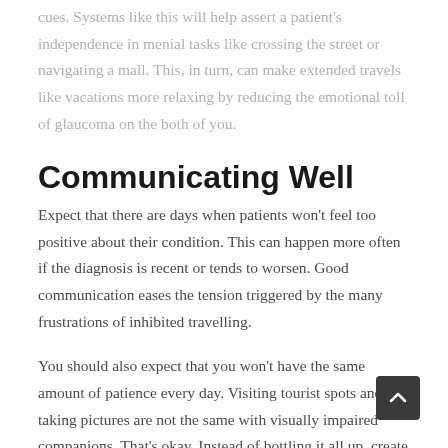cues. Systems like this will help assert a patient's independence in menial tasks like crossing the street or navigating a mall. This, in turn, can make extended travels like vacations more relaxing by reducing the emotional toll of glaucoma on the both of you.
Communicating Well
Expect that there are days when patients won't feel too positive about their condition. This can happen more often if the diagnosis is recent or tends to worsen. Good communication eases the tension triggered by the many frustrations of inhibited travelling.
You should also expect that you won't have the same amount of patience every day. Visiting tourist spots and taking pictures are not the same with visually impaired companions. That's okay. Instead of bottling it all up, create a safe space for both of you discuss your emotions. It's better this way than to strain your